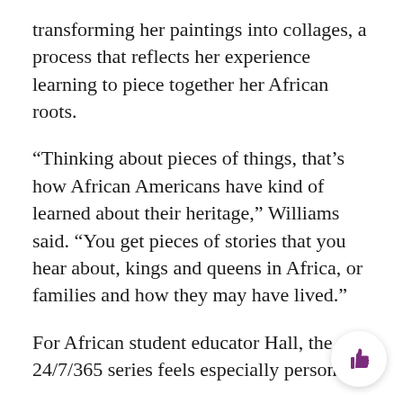transforming her paintings into collages, a process that reflects her experience learning to piece together her African roots.
“Thinking about pieces of things, that’s how African Americans have kind of learned about their heritage,” Williams said. “You get pieces of stories that you hear about, kings and queens in Africa, or families and how they may have lived.”
For African student educator Hall, the 24/7/365 series feels especially personal.
Hall, an Evanston Township High School alumnus, will retell West African story Gassire’s Lute on Feb. 16. Hall’s beloved high school drama teacher, Gloria Bond Clunie, is the Fleetwood-Jourdain Theatre’s founding artistic director.
Hall has chosen to dedicate his reading to Evanston resi QuoVadis Harper, who passed away in January, Hall said.
[Figure (other): Thumbs up icon button in a white circular badge, purple/dark magenta color]